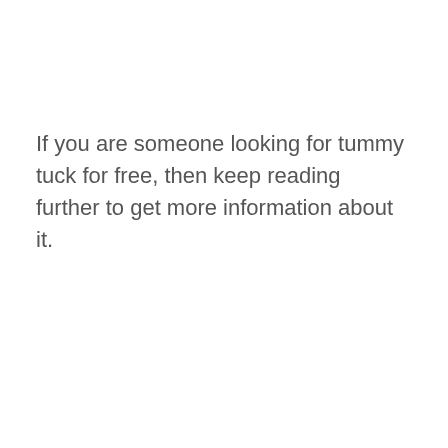If you are someone looking for tummy tuck for free, then keep reading further to get more information about it.